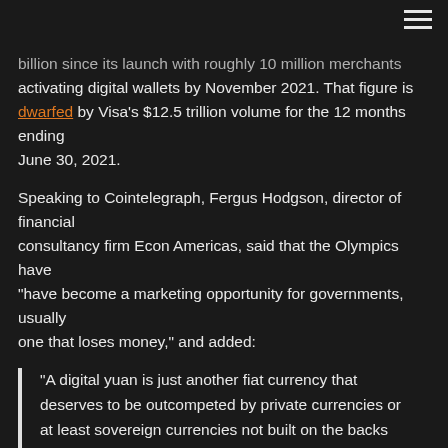billion since its launch with roughly 10 million merchants activating digital wallets by November 2021. That figure is dwarfed by Visa's $12.5 trillion volume for the 12 months ending June 30, 2021.
Speaking to Cointelegraph, Fergus Hodgson, director of financial consultancy firm Econ Americas, said that the Olympics have "have become a marketing opportunity for governments, usually one that loses money," and added:
“A digital yuan is just another fiat currency that deserves to be outcompeted by private currencies or at least sovereign currencies not built on the backs of slave labor and totalitarianism.”